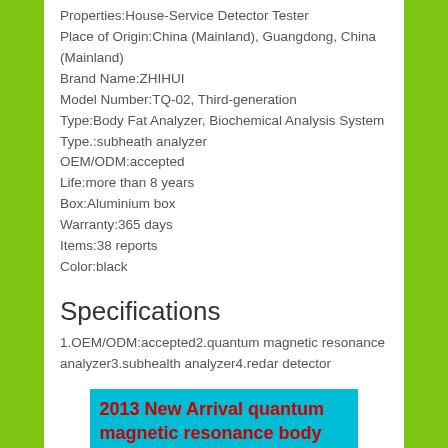Properties:House-Service Detector Tester
Place of Origin:China (Mainland), Guangdong, China (Mainland)
Brand Name:ZHIHUI
Model Number:TQ-02, Third-generation
Type:Body Fat Analyzer, Biochemical Analysis System
Type.:subheath analyzer
OEM/ODM:accepted
Life:more than 8 years
Box:Aluminium box
Warranty:365 days
Items:38 reports
Color:black
Specifications
1.OEM/ODM:accepted2.quantum magnetic resonance analyzer3.subhealth analyzer4.redar detector
2013 New Arrival quantum magnetic resonance body analyzer(English version)